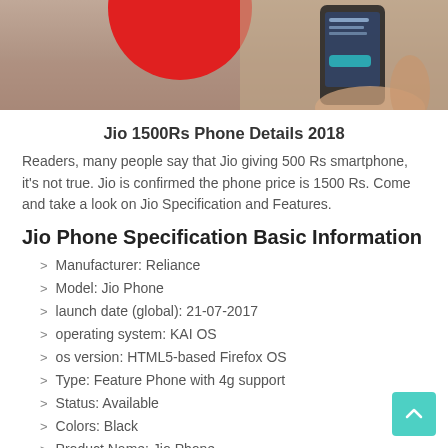[Figure (photo): Photo of a hand holding a smartphone with a red circle and blurred background]
Jio 1500Rs Phone Details 2018
Readers, many people say that Jio giving 500 Rs smartphone, it's not true. Jio is confirmed the phone price is 1500 Rs. Come and take a look on Jio Specification and Features.
Jio Phone Specification Basic Information
Manufacturer: Reliance
Model: Jio Phone
launch date (global): 21-07-2017
operating system: KAI OS
os version: HTML5-based Firefox OS
Type: Feature Phone with 4g support
Status: Available
Colors: Black
Product Name: Jio Phone